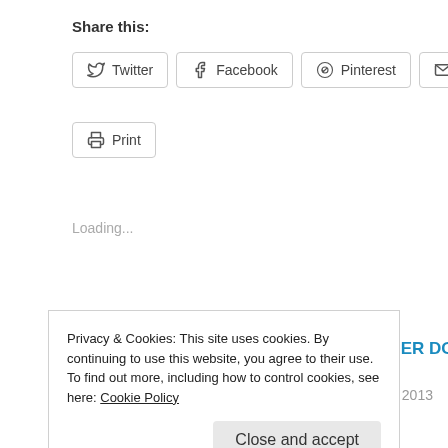Share this:
Twitter
Facebook
Pinterest
Email
Print
Loading...
OMI'S SCHMORGURKEN – CUCUMBER-APPLE-
APPLE CIDER DONUT MUFFINS
November 10, 2013
Privacy & Cookies: This site uses cookies. By continuing to use this website, you agree to their use.
To find out more, including how to control cookies, see here: Cookie Policy
Close and accept
In "Apples"